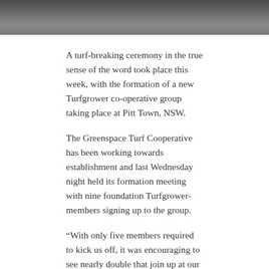[Figure (photo): Partial photo showing people from the waist down, cropped at top of page]
A turf-breaking ceremony in the true sense of the word took place this week, with the formation of a new Turfgrower co-operative group taking place at Pitt Town, NSW.
The Greenspace Turf Cooperative has been working towards establishment and last Wednesday night held its formation meeting with nine foundation Turfgrower-members signing up to the group.
“With only five members required to kick us off, it was encouraging to see nearly double that join up at our first get-together,” said Greenspace’s spokesperson Paul Mahoney following the meeting.
Mahoney, who heads up Evergreen Turf Australia’s operations as their CEO nationally, was also elected Chairman at the meeting with the help of members. Paul